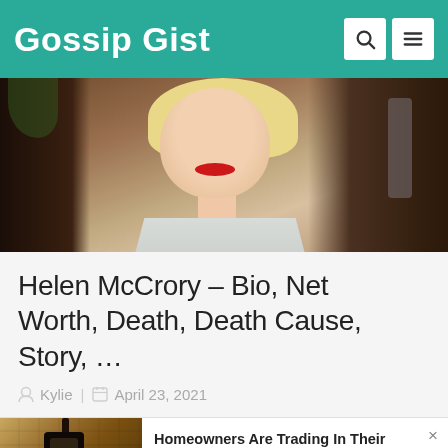Gossip Gist
[Figure (photo): Blonde woman in light sleeveless dress with red lipstick at a public event, dark background with other people visible]
Helen McCrory – Bio, Net Worth, Death, Death Cause, Story, …
Kylie | April 23, 2021
[Figure (photo): Advertisement showing an outdoor wall lantern with a security camera device attached to it]
Homeowners Are Trading In Their Doorbell Cams For This
Camerca | Sponsored